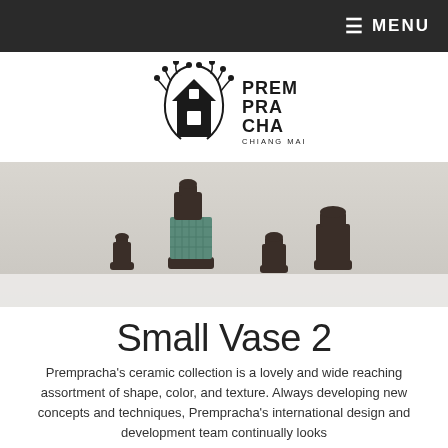≡ MENU
[Figure (logo): Prempracha Chiang Mai logo with a house silhouette and floral arch, text reading PREMPRACHA CHIANG MAI]
[Figure (photo): Product photo of several dark ceramic vases of different sizes arranged together, with grey background. One vase has a teal woven/herringbone texture band.]
Small Vase 2
Prempracha's ceramic collection is a lovely and wide reaching assortment of shape, color, and texture. Always developing new concepts and techniques, Prempracha's international design and development team continually looks